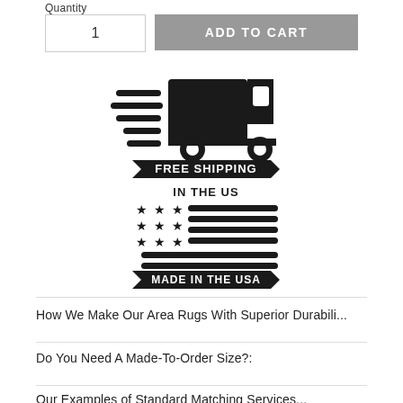Quantity
1
ADD TO CART
[Figure (illustration): Fast delivery truck icon with speed lines and a black banner reading FREE SHIPPING IN THE US]
[Figure (illustration): American flag style icon with stars and stripes and a black banner reading MADE IN THE USA]
How We Make Our Area Rugs With Superior Durabili...
Do You Need A Made-To-Order Size?:
Our Examples of Standard Matching Services...